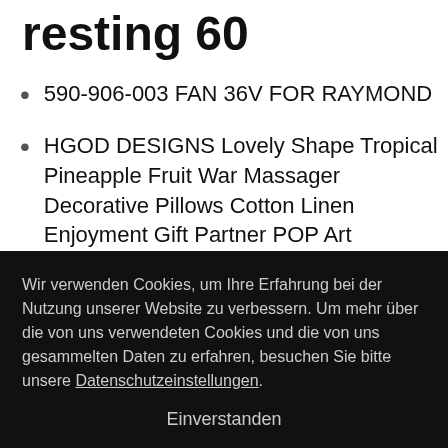resting 60
590-906-003 FAN 36V FOR RAYMOND
HGOD DESIGNS Lovely Shape Tropical Pineapple Fruit War Massager Decorative Pillows Cotton Linen Enjoyment Gift Partner POP Art
3dRose lsp_127039_6 Birth of Venus by Sandro Botticelli 2 Plug Outlet Cover
Wir verwenden Cookies, um Ihre Erfahrung bei der Nutzung unserer Website zu verbessern. Um mehr über die von uns verwendeten Cookies und die von uns gesammelten Daten zu erfahren, besuchen Sie bitte unsere Datenschutzeinstellungen.
Einverstanden